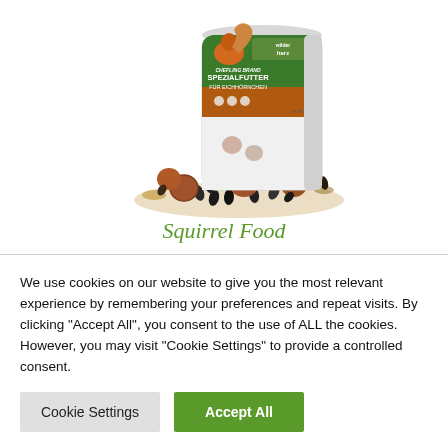[Figure (photo): Product bag labeled 'SPEZIALFUTTER FÜR EICHHÖRNCHEN' (special food for squirrels) with nuts and seeds mixture spilled in front, squirrel image on top, wilder herz branding]
Squirrel Food
[Figure (photo): Partial banner image showing colorful birds (goldfinch, bullfinch) with a green circular logo]
We use cookies on our website to give you the most relevant experience by remembering your preferences and repeat visits. By clicking "Accept All", you consent to the use of ALL the cookies. However, you may visit "Cookie Settings" to provide a controlled consent.
Cookie Settings
Accept All